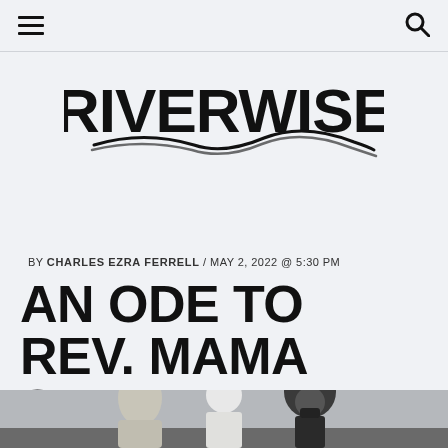Navigation bar with hamburger menu and search icon
[Figure (logo): RIVERWISE logo in bold black sans-serif font with a stylized river/wave graphic beneath the text]
BY CHARLES EZRA FERRELL / MAY 2, 2022 @ 5:30 PM
AN ODE TO REV. MAMA SANDRA SIMMONS
[Figure (photo): A photograph showing multiple people standing together outdoors, some wearing face masks]